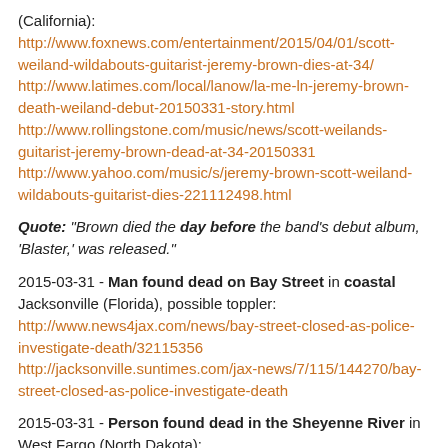(California): http://www.foxnews.com/entertainment/2015/04/01/scott-weiland-wildabouts-guitarist-jeremy-brown-dies-at-34/ http://www.latimes.com/local/lanow/la-me-ln-jeremy-brown-death-weiland-debut-20150331-story.html http://www.rollingstone.com/music/news/scott-weilands-guitarist-jeremy-brown-dead-at-34-20150331 http://www.yahoo.com/music/s/jeremy-brown-scott-weiland-wildabouts-guitarist-dies-221112498.html
Quote: "Brown died the day before the band's debut album, 'Blaster,' was released."
2015-03-31 - Man found dead on Bay Street in coastal Jacksonville (Florida), possible toppler: http://www.news4jax.com/news/bay-street-closed-as-police-investigate-death/32115356 http://jacksonville.suntimes.com/jax-news/7/115/144270/bay-street-closed-as-police-investigate-death
2015-03-31 - Person found dead in the Sheyenne River in West Fargo (North Dakota):